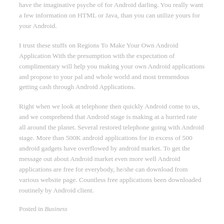have the imaginative psyche of for Android darling. You really want a few information on HTML or Java, than you can utilize yours for your Android.
I trust these stuffs on Regions To Make Your Own Android Application With the presumption with the expectation of complimentary will help you making your own Android applications and propose to your pal and whole world and most tremendous getting cash through Android Applications.
Right when we look at telephone then quickly Android come to us, and we comprehend that Android stage is making at a hurried rate all around the planet. Several restored telephone going with Android stage. More than 500K android applications for in excess of 500 android gadgets have overflowed by android market. To get the message out about Android market even more well Android applications are free for everybody, he/she can download from various website page. Countless free applications been downloaded routinely by Android client.
Posted in Business